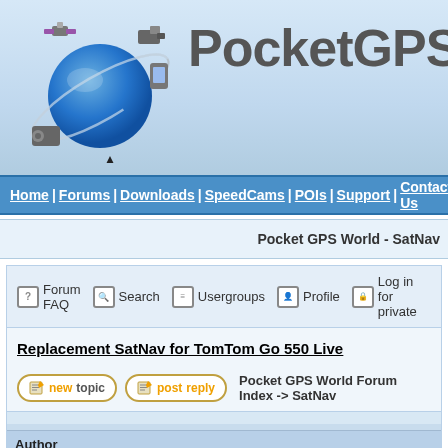[Figure (logo): PocketGPSWorld website header with globe logo and satellite/device icons, site name 'PocketGPSW' visible]
Home | Forums | Downloads | SpeedCams | POIs | Support | Contact Us
Pocket GPS World - SatNav
Forum FAQ   Search   Usergroups   Profile   Log in for private
Replacement SatNav for TomTom Go 550 Live
Pocket GPS World Forum Index -> SatNav
| Author |  |
| --- | --- |